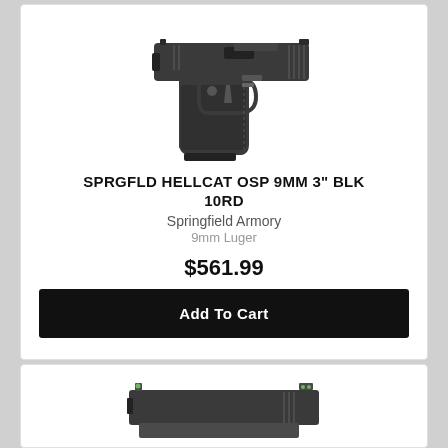[Figure (photo): Photograph of a Springfield Armory Hellcat OSP 9mm pistol in black, shown in profile view from the right side. Compact semi-automatic handgun with textured grip and optic cut slide.]
SPRGFLD HELLCAT OSP 9MM 3" BLK 10RD
Springfield Armory
9mm Luger
$561.99
Add To Cart
[Figure (photo): Partial photograph of a second handgun visible at the bottom of the page, showing only the top portion of the slide with front and rear sights.]